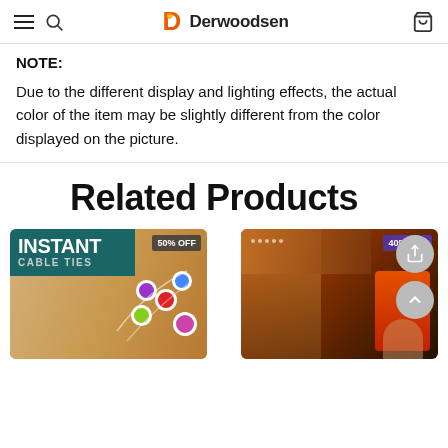Derwoodsen — navigation bar with hamburger menu, search, logo, and cart
NOTE:
Due to the different display and lighting effects, the actual color of the item may be slightly different from the color displayed on the picture.
Related Products
[Figure (photo): Product card: INSTANT CABLE TIES, 50% OFF, colorful silicone cable ties with earbuds on wooden background]
[Figure (photo): Product card: Corner protector product, 40% OFF, showing corner furniture protector in use]